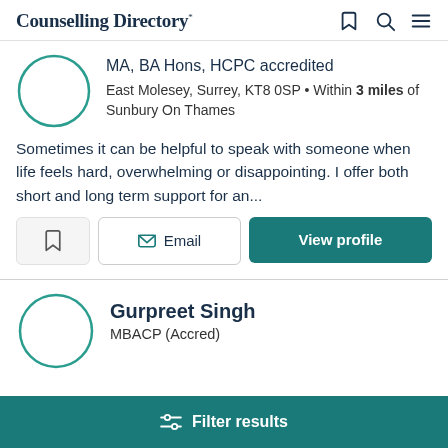Counselling Directory
MA, BA Hons, HCPC accredited
East Molesey, Surrey, KT8 0SP • Within 3 miles of Sunbury On Thames
Sometimes it can be helpful to speak with someone when life feels hard, overwhelming or disappointing. I offer both short and long term support for an...
Email
View profile
Gurpreet Singh
MBACP (Accred)
Filter results